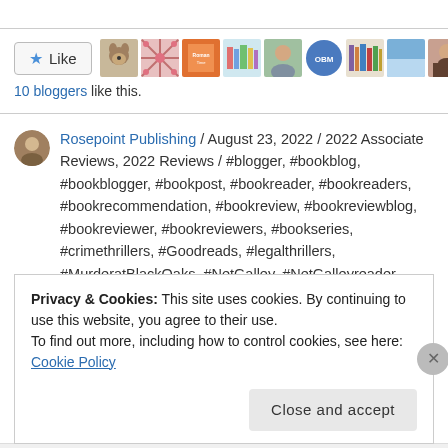[Figure (other): Like button with star icon and 9 blogger avatar thumbnails]
10 bloggers like this.
Rosepoint Publishing / August 23, 2022 / 2022 Associate Reviews, 2022 Reviews / #blogger, #bookblog, #bookblogger, #bookpost, #bookreader, #bookreaders, #bookrecommendation, #bookreview, #bookreviewblog, #bookreviewer, #bookreviewers, #bookseries, #crimethrillers, #Goodreads, #legalthrillers, #MurderatBlackOaks, #NetGalley, #NetGalleyreader, #NetGalleyreviewer,
Privacy & Cookies: This site uses cookies. By continuing to use this website, you agree to their use.
To find out more, including how to control cookies, see here: Cookie Policy
Close and accept